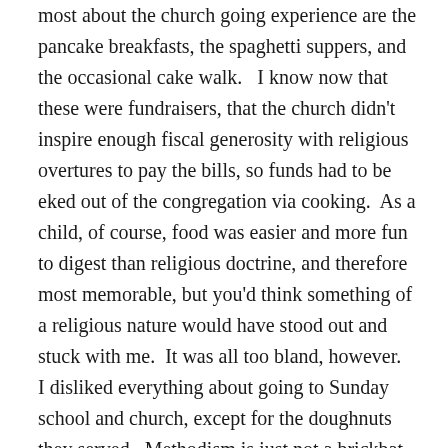most about the church going experience are the pancake breakfasts, the spaghetti suppers, and the occasional cake walk.   I know now that these were fundraisers, that the church didn't inspire enough fiscal generosity with religious overtures to pay the bills, so funds had to be eked out of the congregation via cooking.  As a child, of course, food was easier and more fun to digest than religious doctrine, and therefore most memorable, but you'd think something of a religious nature would have stood out and stuck with me.  It was all too bland, however.   I disliked everything about going to Sunday school and church, except for the doughnuts they served.  Methodism is just not a brickbat kind of denomination.
So I can only assume from my own experience that my father's religious training was also more like glancing exposure.  Maybe they never warned him about the seven